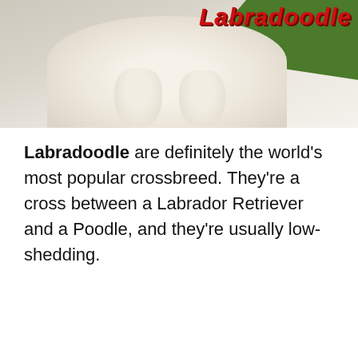[Figure (photo): Photo of a white fluffy Labradoodle dog lying down, with green grass visible in the background and the word 'Labradoodle' in large red italic text overlaid on the upper right of the image.]
Labradoodle are definitely the world's most popular crossbreed. They're a cross between a Labrador Retriever and a Poodle, and they're usually low-shedding.